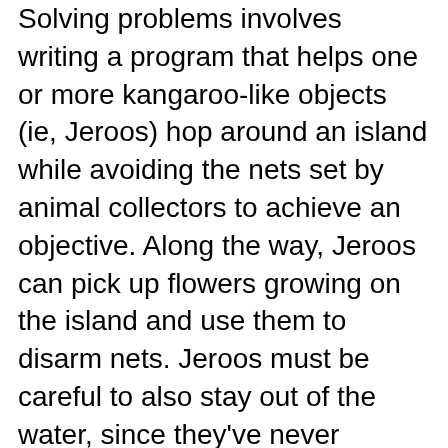Solving problems involves writing a program that helps one or more kangaroo-like objects (ie, Jeroos) hop around an island while avoiding the nets set by animal collectors to achieve an objective. Along the way, Jeroos can pick up flowers growing on the island and use them to disarm nets. Jeroos must be careful to also stay out of the water, since they've never developed an ability to swim.
Jeroo has been used in high school and university classrooms for nearly 20 years, and many teachers find that it provides a great transition tool between the modern block-based systems like Scratch and a more general purpose programming language. The system allows learners to program using a variety of syntax styles to best align with the target programming language in a curriculum. In particular, you can choose between Java/C#, Python, or Visual Basic style syntaxes all within the same tool.
Start Coding with Jeroo
Web-Based Jeroo (beta) is now available to use directly in your browser, including on Chromebooks and tablet devices! The web-based Jeroo is fully backward compatible with any programs and island files you have